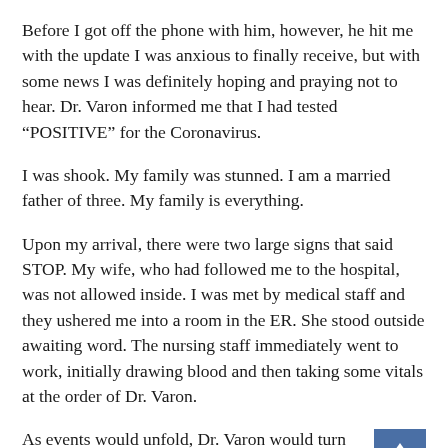Before I got off the phone with him, however, he hit me with the update I was anxious to finally receive, but with some news I was definitely hoping and praying not to hear. Dr. Varon informed me that I had tested “POSITIVE” for the Coronavirus.
I was shook. My family was stunned. I am a married father of three. My family is everything.
Upon my arrival, there were two large signs that said STOP. My wife, who had followed me to the hospital, was not allowed inside. I was met by medical staff and they ushered me into a room in the ER. She stood outside awaiting word. The nursing staff immediately went to work, initially drawing blood and then taking some vitals at the order of Dr. Varon.
As events would unfold, Dr. Varon would turn out to be one of the primary angels of medicine that made the difference relative to my Coronavirus recovery efforts.
One of the first things Dr. Varon ordered his medical staff to